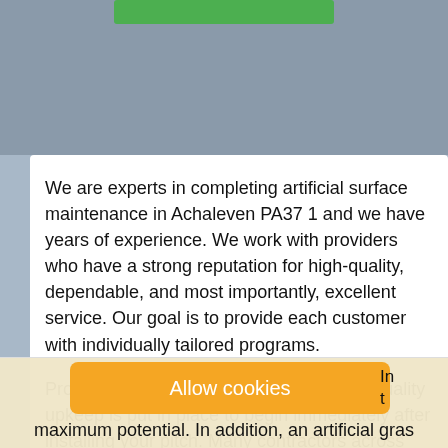[Figure (other): Green button banner at top of page on gray background]
We are experts in completing artificial surface maintenance in Achaleven PA37 1 and we have years of experience. We work with providers who have a strong reputation for high-quality, dependable, and most importantly, excellent service. Our goal is to provide each customer with individually tailored programs.
Professionals always ensure that a good quality upkeep is put in place to begin immediately after installing your pitch. Many contractors across the UK supply and install turf pitches and claim they are 'maintenance free' - this is not the case.
Allow cookies
maximum potential. In addition, an artificial gras...